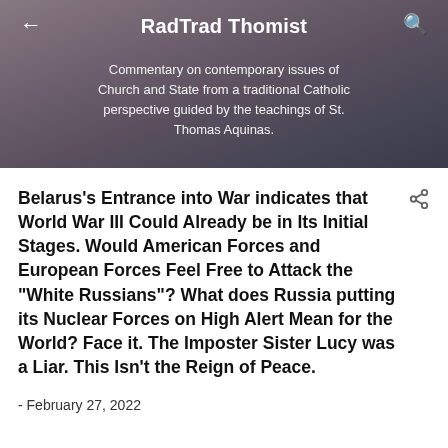RadTrad Thomist
Commentary on contemporary issues of Church and State from a traditional Catholic perspective guided by the teachings of St. Thomas Aquinas.
Belarus's Entrance into War indicates that World War III Could Already be in Its Initial Stages. Would American Forces and European Forces Feel Free to Attack the "White Russians"? What does Russia putting its Nuclear Forces on High Alert Mean for the World? Face it. The Imposter Sister Lucy was a Liar. This Isn't the Reign of Peace.
- February 27, 2022